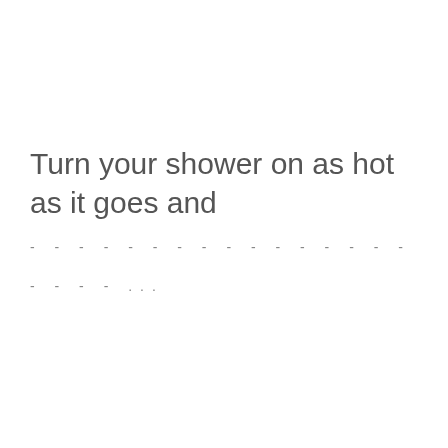Turn your shower on as hot as it goes and ...